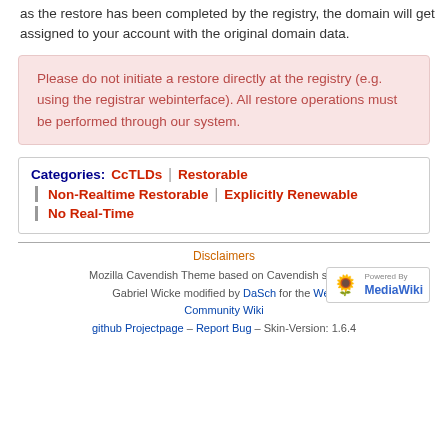as the restore has been completed by the registry, the domain will get assigned to your account with the original domain data.
Please do not initiate a restore directly at the registry (e.g. using the registrar webinterface). All restore operations must be performed through our system.
Categories: CcTLDs | Restorable | Non-Realtime Restorable | Explicitly Renewable | No Real-Time
Disclaimers
Mozilla Cavendish Theme based on Cavendish style by Gabriel Wicke modified by DaSch for the Web Community Wiki github Projectpage – Report Bug – Skin-Version: 1.6.4